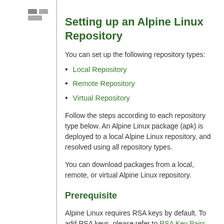[Figure (logo): Small logo icon in the top-left area]
Setting up an Alpine Linux Repository
You can set up the following repository types:
Local Repository
Remote Repository
Virtual Repository
Follow the steps according to each repository type below. An Alpine Linux package (apk) is deployed to a local Alpine Linux repository, and resolved using all repository types.
You can download packages from a local, remote, or virtual Alpine Linux repository.
Prerequisite
Alpine Linux requires RSA keys by default. To add RSA keys, please refer to RSA Key Pairs.
If you do not configure RSA keys, users have to use